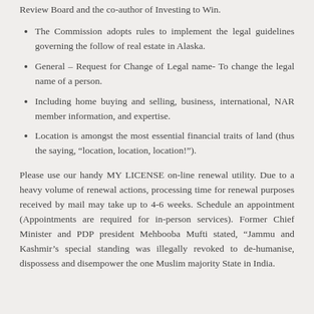Review Board and the co-author of Investing to Win.
The Commission adopts rules to implement the legal guidelines governing the follow of real estate in Alaska.
General – Request for Change of Legal name- To change the legal name of a person.
Including home buying and selling, business, international, NAR member information, and expertise.
Location is amongst the most essential financial traits of land (thus the saying, “location, location, location!”).
Please use our handy MY LICENSE on-line renewal utility. Due to a heavy volume of renewal actions, processing time for renewal purposes received by mail may take up to 4-6 weeks. Schedule an appointment (Appointments are required for in-person services). Former Chief Minister and PDP president Mehbooba Mufti stated, “Jammu and Kashmir’s special standing was illegally revoked to de-humanise, dispossess and disempower the one Muslim majority State in India.